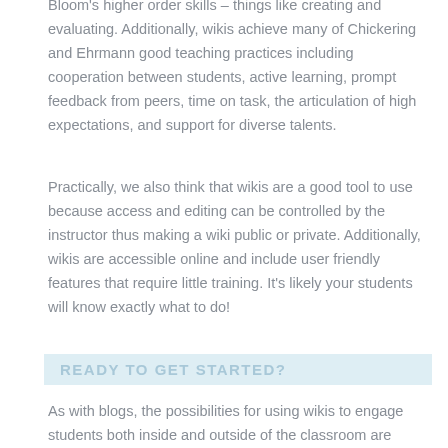Bloom's higher order skills – things like creating and evaluating. Additionally, wikis achieve many of Chickering and Ehrmann good teaching practices including cooperation between students, active learning, prompt feedback from peers, time on task, the articulation of high expectations, and support for diverse talents.
Practically, we also think that wikis are a good tool to use because access and editing can be controlled by the instructor thus making a wiki public or private. Additionally, wikis are accessible online and include user friendly features that require little training. It's likely your students will know exactly what to do!
READY TO GET STARTED?
As with blogs, the possibilities for using wikis to engage students both inside and outside of the classroom are